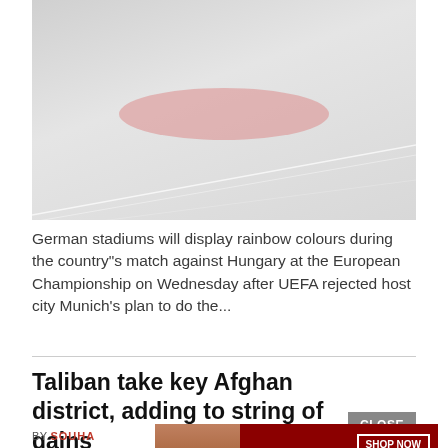[Figure (photo): A faded/washed-out photo of a stadium with a large oval/pill shaped pink/red structure visible and diagonal light streaks at the bottom]
German stadiums will display rainbow colours during the country"s match against Hungary at the European Championship on Wednesday after UEFA rejected host city Munich's plan to do the...
Taliban take key Afghan district, adding to string of gains
BY SOUHA
[Figure (photo): Advertisement banner: KISS BORING LIPS GOODBYE with a woman's face and red lips, SHOP NOW button and Macy's star logo on dark red background]